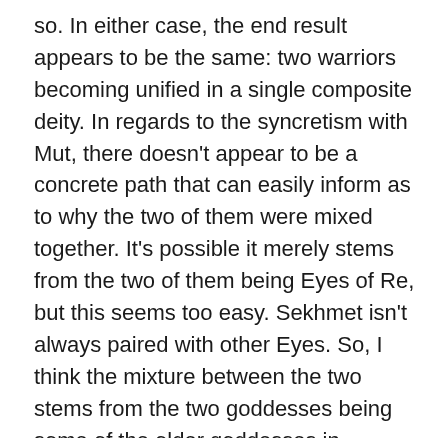so. In either case, the end result appears to be the same: two warriors becoming unified in a single composite deity. In regards to the syncretism with Mut, there doesn't appear to be a concrete path that can easily inform as to why the two of them were mixed together. It's possible it merely stems from the two of them being Eyes of Re, but this seems too easy. Sekhmet isn't always paired with other Eyes. So, I think the mixture between the two stems from the two goddesses being some of the older goddesses in existence. And in keeping around one (Mut, who became a very popular goddess in her own right), we continue to feel the presence of the other.
One thing I tend to fight against, repeatedly, when doing the research and going through what I can about Sekhmet is the constant belief that she is nothing but a blood-thirsty goddess. Egyptian Mythology Goddess Bindery...